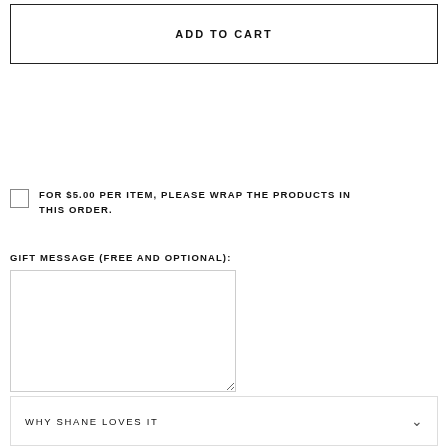ADD TO CART
FOR $5.00 PER ITEM, PLEASE WRAP THE PRODUCTS IN THIS ORDER.
GIFT MESSAGE (FREE AND OPTIONAL):
WHY SHANE LOVES IT